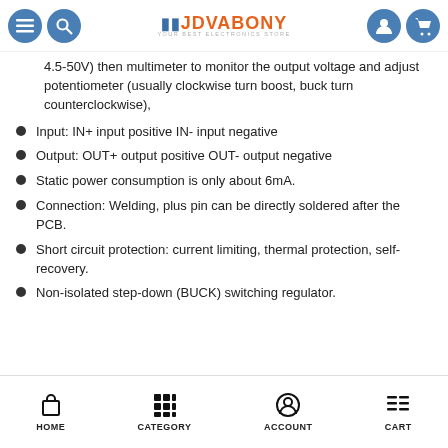JDVABONY — YOUR BEST ELECTRONICS STORE (navigation header with menu, search, account, cart icons)
4.5-50V) then multimeter to monitor the output voltage and adjust potentiometer (usually clockwise turn boost, buck turn counterclockwise),
Input: IN+ input positive IN- input negative
Output: OUT+ output positive OUT- output negative
Static power consumption is only about 6mA.
Connection: Welding, plus pin can be directly soldered after the PCB.
Short circuit protection: current limiting, thermal protection, self-recovery.
Non-isolated step-down (BUCK) switching regulator.
HOME | CATEGORY | ACCOUNT | CART